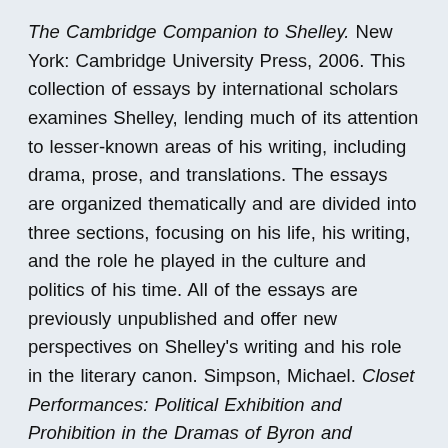The Cambridge Companion to Shelley. New York: Cambridge University Press, 2006. This collection of essays by international scholars examines Shelley, lending much of its attention to lesser-known areas of his writing, including drama, prose, and translations. The essays are organized thematically and are divided into three sections, focusing on his life, his writing, and the role he played in the culture and politics of his time. All of the essays are previously unpublished and offer new perspectives on Shelley’s writing and his role in the literary canon. Simpson, Michael. Closet Performances: Political Exhibition and Prohibition in the Dramas of Byron and Shelley. Stanford, Calif.: Stanford University Press, 1998. Simpson